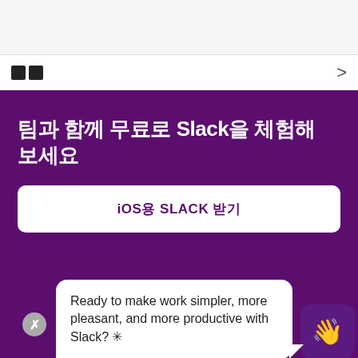팀과 함께 무료로 Slack을 체험해 보세요
iOS용 SLACK 받기
Ready to make work simpler, more pleasant, and more productive with Slack? ✳